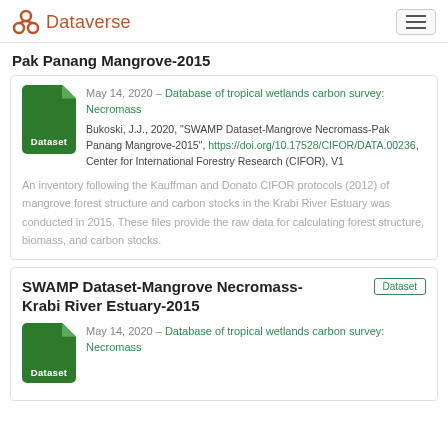Dataverse
Pak Panang Mangrove-2015
May 14, 2020 – Database of tropical wetlands carbon survey: Necromass
Bukoski, J.J., 2020, "SWAMP Dataset-Mangrove Necromass-Pak Panang Mangrove-2015", https://doi.org/10.17528/CIFOR/DATA.00236, Center for International Forestry Research (CIFOR), V1
An inventory following the Kauffman and Donato CIFOR protocols (2012) of mangrove forest structure and carbon stocks in the Krabi River Estuary was conducted in 2015. These files provide the raw data for calculating forest structure, biomass, and carbon stocks.
SWAMP Dataset-Mangrove Necromass-Krabi River Estuary-2015
May 14, 2020 – Database of tropical wetlands carbon survey: Necromass